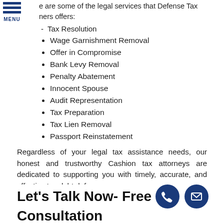e are some of the legal services that Defense Tax ners offers:
Tax Resolution
Wage Garnishment Removal
Offer in Compromise
Bank Levy Removal
Penalty Abatement
Innocent Spouse
Audit Representation
Tax Preparation
Tax Lien Removal
Passport Reinstatement
Regardless of your legal tax assistance needs, our honest and trustworthy Cashion tax attorneys are dedicated to supporting you with timely, accurate, and effective tax debt defense.
Let's Talk Now- Free Consultation